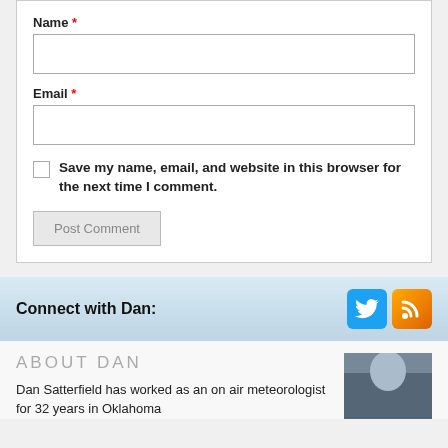Name *
Email *
Save my name, email, and website in this browser for the next time I comment.
Post Comment
Connect with Dan:
ABOUT DAN
Dan Satterfield has worked as an on air meteorologist for 32 years in Oklahoma